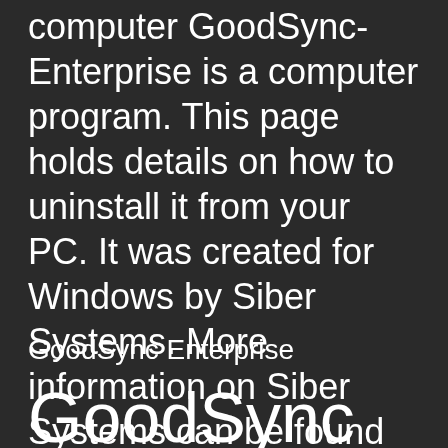computer GoodSync-Enterprise is a computer program. This page holds details on how to uninstall it from your PC. It was created for Windows by Siber Systems. More information on Siber Systems can be found here.
GoodSync Enterprise
GoodSync